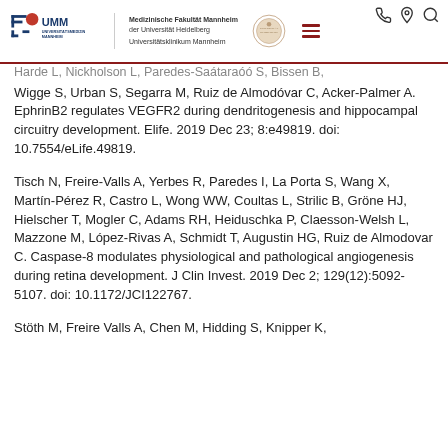UMM Universitätsmedizin Mannheim — Medizinische Fakultät Mannheim der Universität Heidelberg — Universitätsklinikum Mannheim
Harde L, Nicholson L, Paredes-Saataraoó S, Bissen B, Wigge S, Urban S, Segarra M, Ruiz de Almodóvar C, Acker-Palmer A. EphrinB2 regulates VEGFR2 during dendritogenesis and hippocampal circuitry development. Elife. 2019 Dec 23; 8:e49819. doi: 10.7554/eLife.49819.
Tisch N, Freire-Valls A, Yerbes R, Paredes I, La Porta S, Wang X, Martín-Pérez R, Castro L, Wong WW, Coultas L, Strilic B, Gröne HJ, Hielscher T, Mogler C, Adams RH, Heiduschka P, Claesson-Welsh L, Mazzone M, López-Rivas A, Schmidt T, Augustin HG, Ruiz de Almodovar C. Caspase-8 modulates physiological and pathological angiogenesis during retina development. J Clin Invest. 2019 Dec 2; 129(12):5092-5107. doi: 10.1172/JCI122767.
Stöth M, Freire Valls A, Chen M, Hidding S, Knipper K,